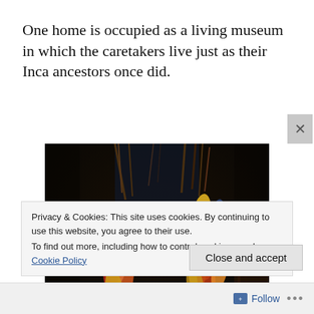One home is occupied as a living museum in which the caretakers live just as their Inca ancestors once did.
[Figure (photo): Bundles of colorful Peruvian corn/maize cobs hanging in darkness, showing varieties of yellow, blue, red, and orange corn.]
Privacy & Cookies: This site uses cookies. By continuing to use this website, you agree to their use.
To find out more, including how to control cookies, see here: Cookie Policy
Close and accept
Follow